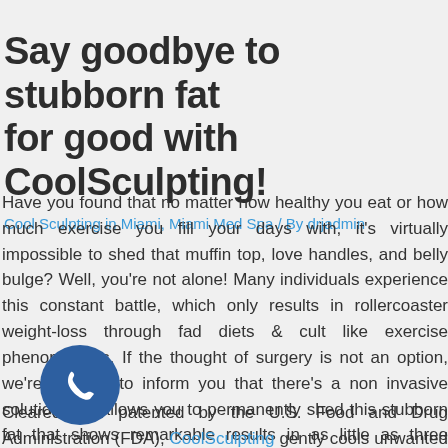Say goodbye to stubborn fat for good with CoolSculpting!
Cool Sculpting in Miami, Miami Med Spa / By drjadmin
Have you found that no matter how healthy you eat or how much exercise you fill your days with, it's virtually impossible to shed that muffin top, love handles, and belly bulge? Well, you're not alone! Many individuals experience this constant battle, which only results in rollercoaster weight-loss through fad diets & cult like exercise phenomenons. If the thought of surgery is not an option, we're pleased to inform you that there's a non invasive solution that allows you to permanently shed this stubborn fat that shows remarkable results in as little as three weeks!
Cleared and patented by the U.S. Food and Drug Administration (FDA), CoolSculpting gently cools unwanted fat cells in the body in